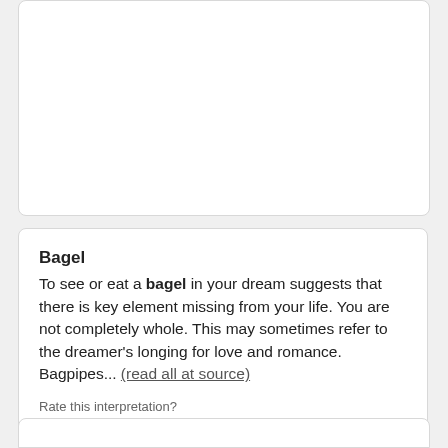[Figure (other): White card/box area at top, partially visible]
Bagel
To see or eat a bagel in your dream suggests that there is key element missing from your life. You are not completely whole. This may sometimes refer to the dreamer's longing for love and romance. Bagpipes... (read all at source)
Rate this interpretation?
0 [thumbs up] 0 [thumbs down]